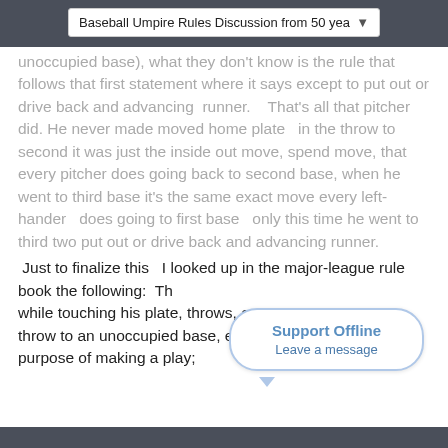Baseball Umpire Rules Discussion from 50 yea...
unoccupied base), what they don't know is the rule that follows that first statement where it says except to put out or drive back and advancing runner.   That's all that pitcher did. He never made moved home plate  in the throw to second it was just the inside out move, spend move, that every pitcher does going back to second base, when he went to third base it's the same exact move every left-hander  does going to first base  only this time he went to third two put out or drive back and advancing runner.
Just to finalize this  I looked up in the major-league rule book the following:  Th... while touching his plate, throws, o... throw to an unoccupied base, excep... purpose of making a play;
[Figure (other): Support Offline chat bubble widget with text 'Support Offline' and 'Leave a message']